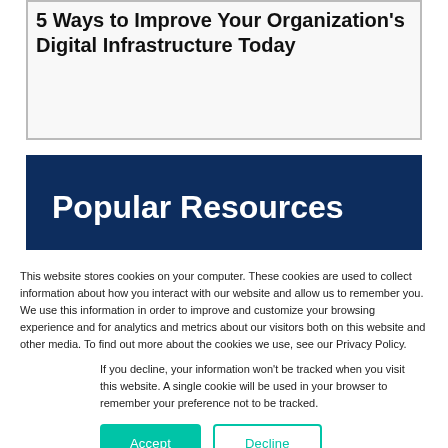5 Ways to Improve Your Organization's Digital Infrastructure Today
Popular Resources
This website stores cookies on your computer. These cookies are used to collect information about how you interact with our website and allow us to remember you. We use this information in order to improve and customize your browsing experience and for analytics and metrics about our visitors both on this website and other media. To find out more about the cookies we use, see our Privacy Policy.
If you decline, your information won't be tracked when you visit this website. A single cookie will be used in your browser to remember your preference not to be tracked.
Accept    Decline